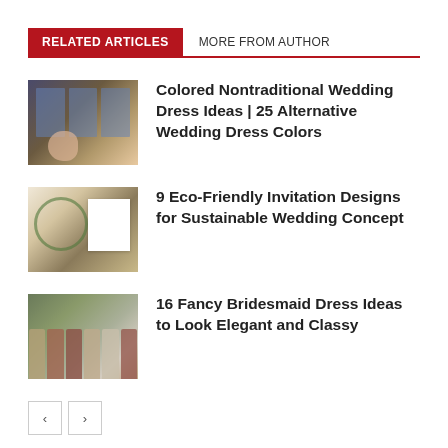RELATED ARTICLES
MORE FROM AUTHOR
[Figure (photo): Woman in pink dress in a vintage room with large windows]
Colored Nontraditional Wedding Dress Ideas | 25 Alternative Wedding Dress Colors
[Figure (photo): Eco-friendly wedding invitation designs with floral garland and envelope]
9 Eco-Friendly Invitation Designs for Sustainable Wedding Concept
[Figure (photo): Group of bridesmaids in colorful dresses standing outdoors]
16 Fancy Bridesmaid Dress Ideas to Look Elegant and Classy